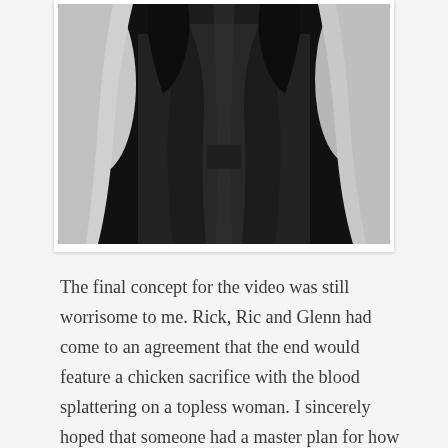[Figure (photo): Black and white photograph showing a person in dark clothing, shot from mid-torso, with dramatic lighting creating strong contrast.]
The final concept for the video was still worrisome to me. Rick, Ric and Glenn had come to an agreement that the end would feature a chicken sacrifice with the blood splattering on a topless woman. I sincerely hoped that someone had a master plan for how they were going to get this played on MTV. They felt so strongly about the idea that no plan B was set into motion, outside of having the girl on the sacrificial altar